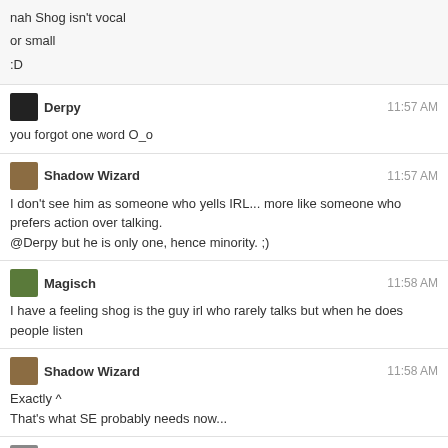nah Shog isn't vocal
or small
:D
Derpy 11:57 AM
you forgot one word O_o
Shadow Wizard 11:57 AM
I don't see him as someone who yells IRL... more like someone who prefers action over talking.
@Derpy but he is only one, hence minority. ;)
Magisch 11:58 AM
I have a feeling shog is the guy irl who rarely talks but when he does people listen
Shadow Wizard 11:58 AM
Exactly ^
That's what SE probably needs now...
Somewhat 11:58 AM
where's that Hangouts session with Shog...
Shadow Wizard 11:58 AM
calling Shog to cut his vacation and rush back to save the sinking ship
SmokeDetector 11:59 AM